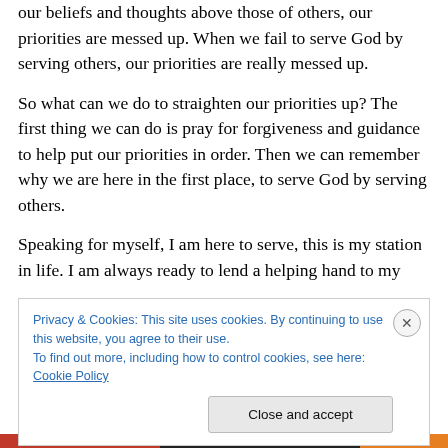our beliefs and thoughts above those of others, our priorities are messed up. When we fail to serve God by serving others, our priorities are really messed up.
So what can we do to straighten our priorities up? The first thing we can do is pray for forgiveness and guidance to help put our priorities in order. Then we can remember why we are here in the first place, to serve God by serving others.
Speaking for myself, I am here to serve, this is my station in life. I am always ready to lend a helping hand to my
Privacy & Cookies: This site uses cookies. By continuing to use this website, you agree to their use.
To find out more, including how to control cookies, see here: Cookie Policy